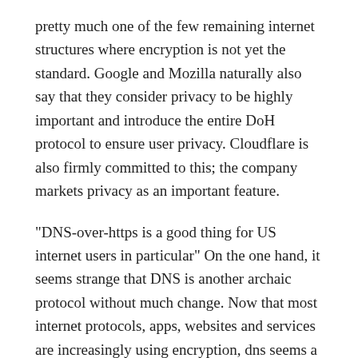pretty much one of the few remaining internet structures where encryption is not yet the standard. Google and Mozilla naturally also say that they consider privacy to be highly important and introduce the entire DoH protocol to ensure user privacy. Cloudflare is also firmly committed to this; the company markets privacy as an important feature.
“DNS-over-https is a good thing for US internet users in particular” On the one hand, it seems strange that DNS is another archaic protocol without much change. Now that most internet protocols, apps, websites and services are increasingly using encryption, dns seems a bit old-fashioned because it is the only protocol that remains behind. On the other hand, you may wonder what exactly dns-over-https solves. For example, does the protocol really make you anonymous? Experts doubt that. The idea of encrypted DNS requests is that providers cannot watch